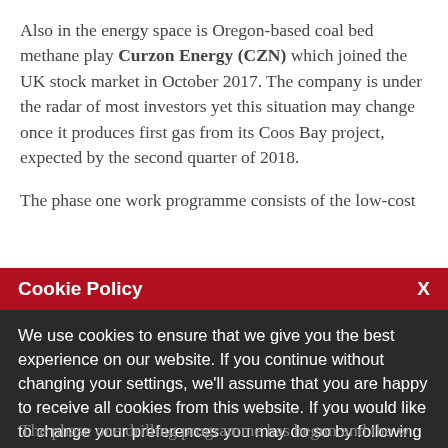Also in the energy space is Oregon-based coal bed methane play Curzon Energy (CZN) which joined the UK stock market in October 2017. The company is under the radar of most investors yet this situation may change once it produces first gas from its Coos Bay project, expected by the second quarter of 2018.
The phase one work programme consists of the low-cost
Cookie Policy
We use cookies to ensure that we give you the best experience on our website. If you continue without changing your settings, we'll assume that you are happy to receive all cookies from this website. If you would like to change your preferences you may do so by following the instructions here.
The phase one drilling programme has begun and the w...